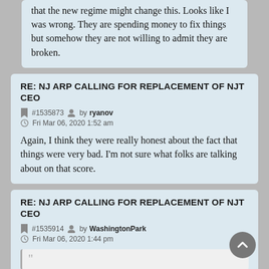They make Amtrak look transparent. I thought that the new regime might change this. Looks like I was wrong. They are spending money to fix things but somehow they are not willing to admit they are broken.
RE: NJ ARP CALLING FOR REPLACEMENT OF NJT CEO
#1535873 by ryanov
Fri Mar 06, 2020 1:52 am
Again, I think they were really honest about the fact that things were very bad. I'm not sure what folks are talking about on that score.
RE: NJ ARP CALLING FOR REPLACEMENT OF NJT CEO
#1535914 by WashingtonPark
Fri Mar 06, 2020 1:44 pm